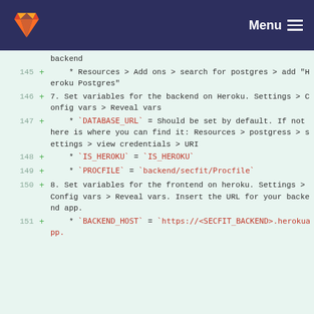GitLab navbar with logo and Menu
backend
145 + * Resources > Add ons > search for postgres > add "Heroku Postgres"
146 + 7. Set variables for the backend on Heroku. Settings > Config vars > Reveal vars
147 + * `DATABASE_URL` = Should be set by default. If not here is where you can find it: Resources > postgress > settings > view credentials > URI
148 + * `IS_HEROKU` = `IS_HEROKU`
149 + * `PROCFILE` = `backend/secfit/Procfile`
150 + 8. Set variables for the frontend on heroku. Settings > Config vars > Reveal vars. Insert the URL for your backend app.
151 + * `BACKEND_HOST` = `https://<SECFIT_BACKEND>.herokuapp.